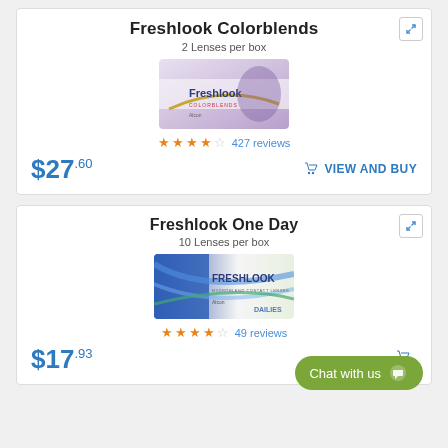Freshlook Colorblends
2 Lenses per box
[Figure (photo): Freshlook Colorblends contact lens box by Alcon]
★★★★☆ 427 reviews
$27.60
VIEW AND BUY
Freshlook One Day
10 Lenses per box
[Figure (photo): Freshlook One Day contact lens box by Alcon Dailies]
★★★★☆ 49 reviews
$17.93
Chat with us